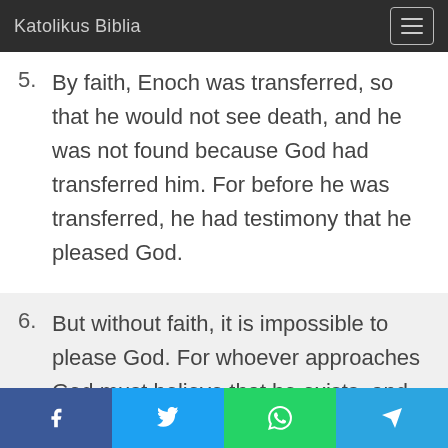Katolikus Biblia
5. By faith, Enoch was transferred, so that he would not see death, and he was not found because God had transferred him. For before he was transferred, he had testimony that he pleased God.
6. But without faith, it is impossible to please God. For whoever approaches God must believe that he exists, and that he rewards those who seek him.